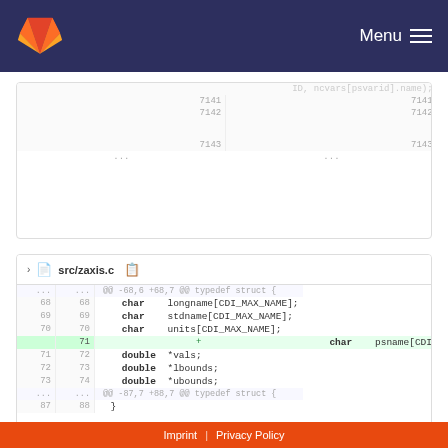Menu
[Figure (screenshot): GitLab code diff panel showing lines 7141-7143 with zaxisDefPositive call]
[Figure (screenshot): GitLab code diff panel for src/zaxis.c showing lines 68-88 with added psname field]
Imprint | Privacy Policy